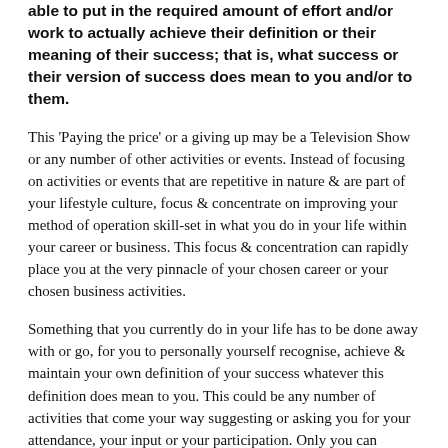able to put in the required amount of effort and/or work to actually achieve their definition or their meaning of their success; that is, what success or their version of success does mean to you and/or to them.
This 'Paying the price' or a giving up may be a Television Show or any number of other activities or events. Instead of focusing on activities or events that are repetitive in nature & are part of your lifestyle culture, focus & concentrate on improving your method of operation skill-set in what you do in your life within your career or business. This focus & concentration can rapidly place you at the very pinnacle of your chosen career or your chosen business activities.
Something that you currently do in your life has to be done away with or go, for you to personally yourself recognise, achieve & maintain your own definition of your success whatever this definition does mean to you. This could be any number of activities that come your way suggesting or asking you for your attendance, your input or your participation. Only you can choose or decide which activity has to be eliminated.
Success in any given Business venture does simply rely on this